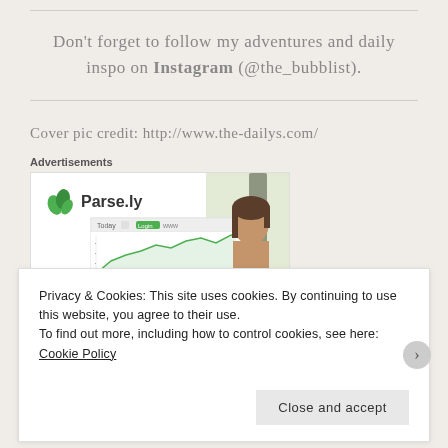Don't forget to follow my adventures and daily inspo on Instagram (@the_bubblist).
Cover pic credit: http://www.the-dailys.com/
[Figure (screenshot): Parse.ly advertisement banner with logo and dashboard screenshot and a woman's face on the right side]
Privacy & Cookies: This site uses cookies. By continuing to use this website, you agree to their use.
To find out more, including how to control cookies, see here: Cookie Policy
Close and accept